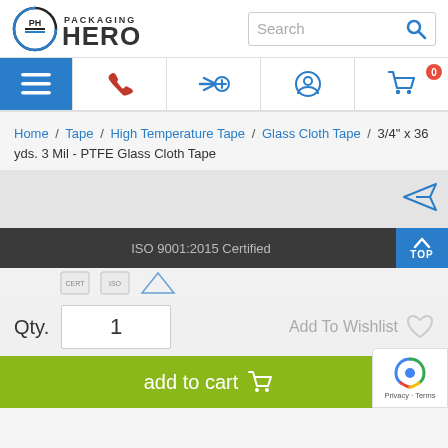[Figure (logo): Packaging Hero logo with circular PH icon and company name]
[Figure (screenshot): Search bar with magnifying glass icon]
[Figure (screenshot): Navigation bar with hamburger menu, phone icon, quick-add icon, account icon, and shopping cart with 0 items]
Home / Tape / High Temperature Tape / Glass Cloth Tape / 3/4" x 36 yds. 3 Mil - PTFE Glass Cloth Tape
[Figure (screenshot): Gray product image area with send/share icon in top right]
ISO 9001:2015 Certified
Qty. 1
Add To Wishlist
add to cart